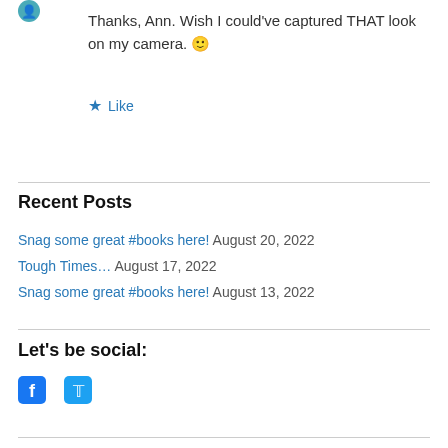[Figure (illustration): Small teal/blue avatar icon at top left]
Thanks, Ann. Wish I could've captured THAT look on my camera. 🙂
★ Like
Recent Posts
Snag some great #books here! August 20, 2022
Tough Times… August 17, 2022
Snag some great #books here! August 13, 2022
Let's be social:
[Figure (logo): Facebook and Twitter social media icons in blue]